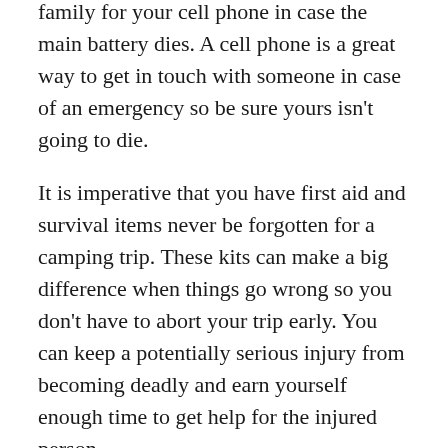family for your cell phone in case the main battery dies. A cell phone is a great way to get in touch with someone in case of an emergency so be sure yours isn't going to die.
It is imperative that you have first aid and survival items never be forgotten for a camping trip. These kits can make a big difference when things go wrong so you don't have to abort your trip early. You can keep a potentially serious injury from becoming deadly and earn yourself enough time to get help for the injured person.
Food poisoning is important to avoid when going on a common danger of camping trip. If the food that you pack for camping is not canned, canned or vacuum